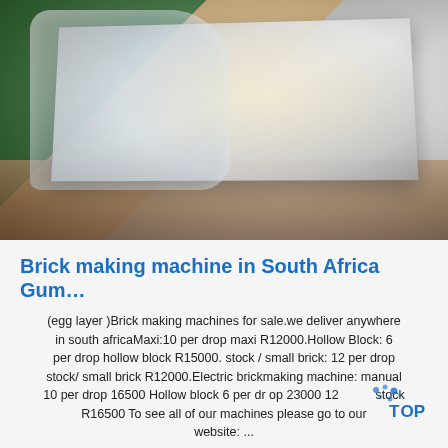[Figure (photo): Photo of a large metal sheet partially wrapped in plastic, sitting on a brown wooden surface, with green background. Industrial setting.]
Brick making machine in South Africa Gum…
(egg layer )Brick making machines for sale.we deliver anywhere in south africaMaxi:10 per drop maxi R12000.Hollow Block: 6 per drop hollow block R15000. stock / small brick: 12 per drop stock/ small brick R12000.Electric brickmaking machine: manual 10 per drop 16500 Hollow block 6 per dr op 23000 12 stock R16500 To see all of our machines please go to our website: ...